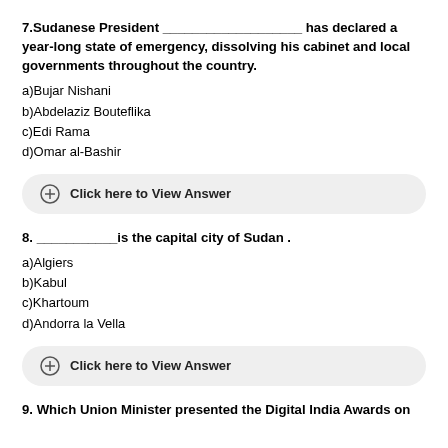7.Sudanese President ___________________ has declared a year-long state of emergency, dissolving his cabinet and local governments throughout the country.
a)Bujar Nishani
b)Abdelaziz Bouteflika
c)Edi Rama
d)Omar al-Bashir
Click here to View Answer
8. ___________is the capital city of Sudan .
a)Algiers
b)Kabul
c)Khartoum
d)Andorra la Vella
Click here to View Answer
9. Which Union Minister presented the Digital India Awards on